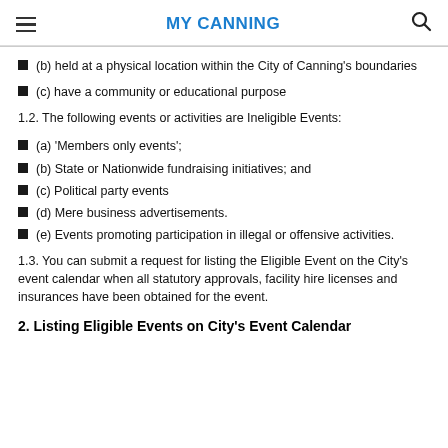MY CANNING
(b) held at a physical location within the City of Canning's boundaries
(c) have a community or educational purpose
1.2. The following events or activities are Ineligible Events:
(a) ‘Members only events’;
(b) State or Nationwide fundraising initiatives; and
(c) Political party events
(d) Mere business advertisements.
(e) Events promoting participation in illegal or offensive activities.
1.3. You can submit a request for listing the Eligible Event on the City’s event calendar when all statutory approvals, facility hire licenses and insurances have been obtained for the event.
2. Listing Eligible Events on City’s Event Calendar